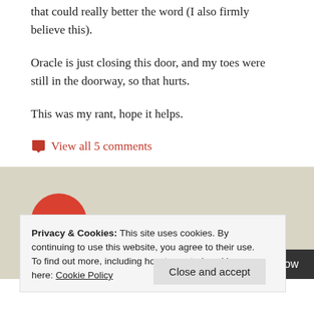that could really better the word (I also firmly believe this).
Oracle is just closing this door, and my toes were still in the doorway, so that hurts.
This was my rant, hope it helps.
View all 5 comments
[Figure (other): Red circle button with left arrow indicating older posts navigation, with italic red text 'Older posts']
Privacy & Cookies: This site uses cookies. By continuing to use this website, you agree to their use.
To find out more, including how to control cookies, see here: Cookie Policy
Close and accept
Follow
Aggregated by OraNA